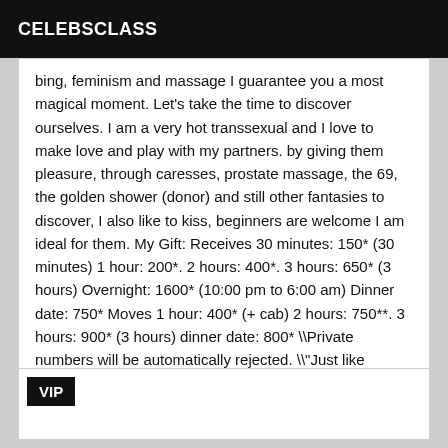CELEBSCLASS
bing, feminism and massage I guarantee you a most magical moment. Let's take the time to discover ourselves. I am a very hot transsexual and I love to make love and play with my partners. by giving them pleasure, through caresses, prostate massage, the 69, the golden shower (donor) and still other fantasies to discover, I also like to kiss, beginners are welcome I am ideal for them. My Gift: Receives 30 minutes: 150* (30 minutes) 1 hour: 200*. 2 hours: 400*. 3 hours: 650* (3 hours) Overnight: 1600* (10:00 pm to 6:00 am) Dinner date: 750* Moves 1 hour: 400* (+ cab) 2 hours: 750**. 3 hours: 900* (3 hours) dinner date: 800* \\Private numbers will be automatically rejected. \\"Just like useless text messages."
VIP